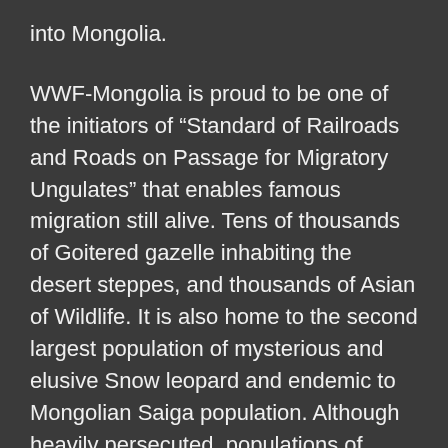into Mongolia.
WWF-Mongolia is proud to be one of the initiators of “Standard of Railroads and Roads on Passage for Migratory Ungulates” that enables famous migration still alive. Tens of thousands of Goitered gazelle inhabiting the desert steppes, and thousands of Asian of Wildlife. It is also home to the second largest population of mysterious and elusive Snow leopard and endemic to Mongolian Saiga population. Although heavily persecuted, populations of wolves persist across much of Mongolian territory. Mongolia supports headwater areas of such mighty rivers like Amur in the east and Yenisei in Altai Sayan ecoregion, and we at WWF-Mongolia are full of pride for our continuous involvement in conservation of these famous rivers with our initiative of  Mongolia’s